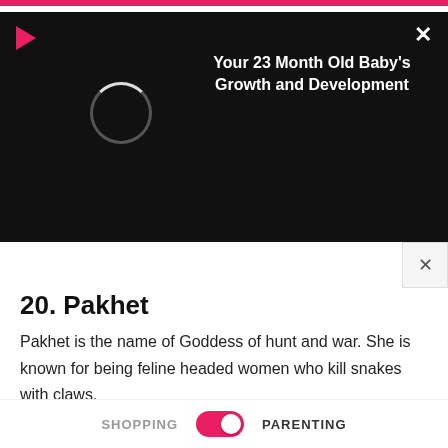[Figure (screenshot): Black video player overlay with pink play button, loading spinner circle, white title text 'Your 23 Month Old Baby's Growth and Development', and an X close button]
20. Pakhet
Pakhet is the name of Goddess of hunt and war. She is known for being feline headed women who kill snakes with claws.
21. Sedna
Known as the mother of Sea. She is the Goddess of marine animals as well as sea hunting in the Inuit Mythology. It's
SHOPPING   PARENTING